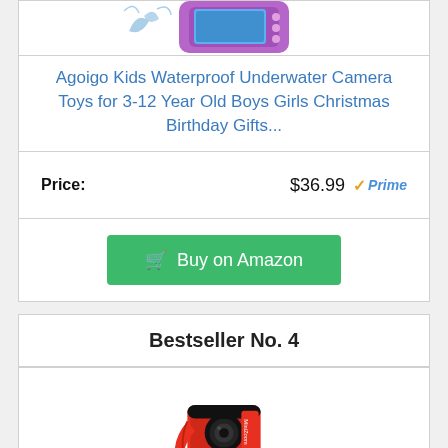[Figure (photo): Partial view of a purple kids waterproof underwater camera toy]
Agoigo Kids Waterproof Underwater Camera Toys for 3-12 Year Old Boys Girls Christmas Birthday Gifts...
Price: $36.99 ✓Prime
Buy on Amazon
Bestseller No. 4
[Figure (photo): Red VTech kids camera on a red tripod]